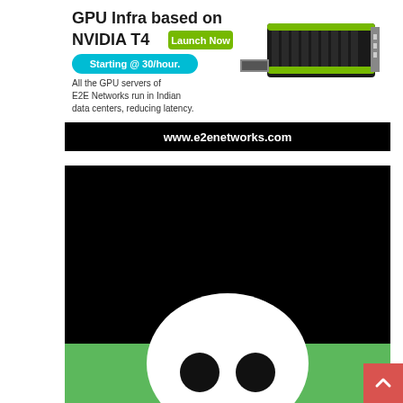[Figure (advertisement): E2E Networks advertisement for GPU Infra based on NVIDIA T4. White background section showing text 'GPU Infra based on NVIDIA T4' with a green 'Launch Now' button, 'Starting @ 30/hour.' in a cyan/blue pill, an image of an NVIDIA T4 GPU card, text 'All the GPU servers of E2E Networks run in Indian data centers, reducing latency.' and a black footer bar with 'www.e2enetworks.com']
[Figure (screenshot): Black rectangle (video player or dark content area) followed by a green section at the bottom showing a white circle with two black dots (eyes), resembling a face or logo on a green background.]